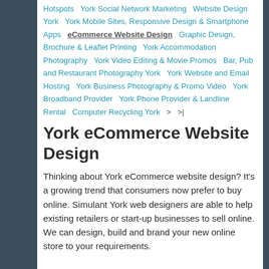Hotspots   York Social Network Marketing   Website Design York   York Mobile Sites, Responsive Design & Smartphone Apps   eCommerce Website Design   Graphic Design, Brochure & Leaflet Printing   York Accommodation Photography   York Video Editing & Movie Promos   Bar, Pub and Restaurant Photography York   York Website and Email Hosting   York Business Photography & Promo Video   York Broadband Provider   York Phone Provider & Landline Rental   Computer Recycling York   >   >|
York eCommerce Website Design
Thinking about York eCommerce website design? It's a growing trend that consumers now prefer to buy online. Simulant York web designers are able to help existing retailers or start-up businesses to sell online. We can design, build and brand your new online store to your requirements.
Training is provided so that you can manage your